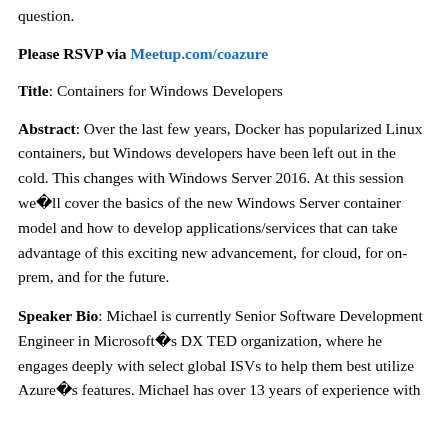question.
Please RSVP via Meetup.com/coazure
Title: Containers for Windows Developers
Abstract: Over the last few years, Docker has popularized Linux containers, but Windows developers have been left out in the cold. This changes with Windows Server 2016. At this session we'll cover the basics of the new Windows Server container model and how to develop applications/services that can take advantage of this exciting new advancement, for cloud, for on-prem, and for the future.
Speaker Bio: Michael is currently Senior Software Development Engineer in Microsoft's DX TED organization, where he engages deeply with select global ISVs to help them best utilize Azure's features. Michael has over 13 years of experience with